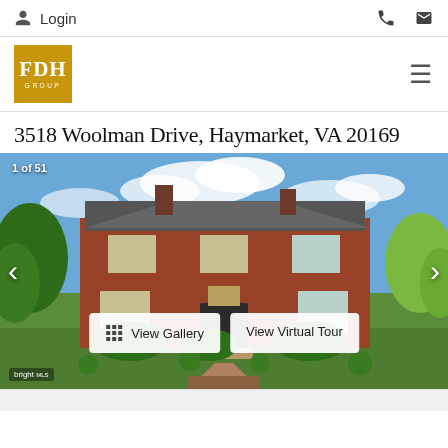Login
[Figure (logo): FDH Group logo — gold/amber square with white serif letters FDH and text GROUP below]
3518 Woolman Drive, Haymarket, VA 20169
[Figure (photo): Exterior photo of a large two-story brick colonial home with manicured hedges, lawn, and a brick walkway. Counter overlay reads '1 of 51'. Buttons: View Gallery and View Virtual Tour. Bright MLS watermark bottom left.]